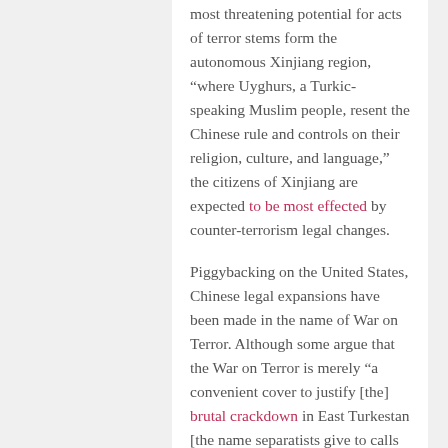most threatening potential for acts of terror stems form the autonomous Xinjiang region, “where Uyghurs, a Turkic-speaking Muslim people, resent the Chinese rule and controls on their religion, culture, and language,” the citizens of Xinjiang are expected to be most effected by counter-terrorism legal changes.
Piggybacking on the United States, Chinese legal expansions have been made in the name of War on Terror. Although some argue that the War on Terror is merely “a convenient cover to justify [the] brutal crackdown in East Turkestan [the name separatists give to calls for an independent state in the (Xinjiang) region],” the government maintains that it “is faced with the real threat of terrorist